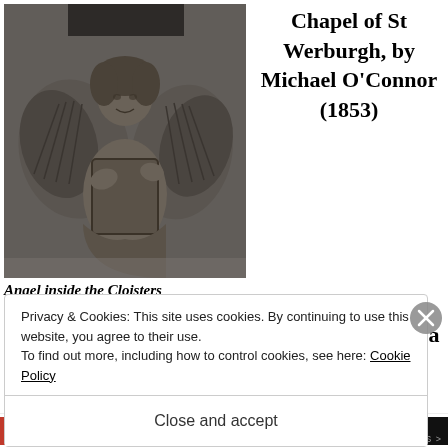[Figure (photo): Stone angel sculpture inside the Cloisters, dark stone carving of a winged angel holding a shield]
Chapel of St Werburgh, by Michael O'Connor (1853)
The buildings are a major tourist attraction in
Angel inside the Cloisters
Privacy & Cookies: This site uses cookies. By continuing to use this website, you agree to their use. To find out more, including how to control cookies, see here: Cookie Policy
Close and accept